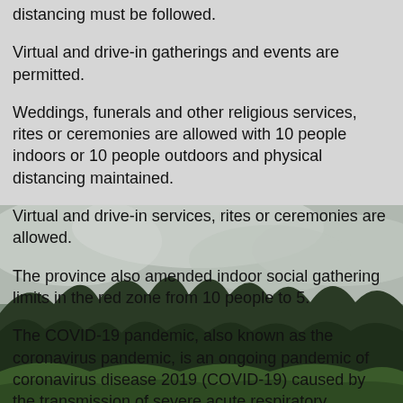distancing must be followed.
Virtual and drive-in gatherings and events are permitted.
Weddings, funerals and other religious services, rites or ceremonies are allowed with 10 people indoors or 10 people outdoors and physical distancing maintained.
Virtual and drive-in services, rites or ceremonies are allowed.
The province also amended indoor social gathering limits in the red zone from 10 people to 5.
[Figure (photo): Misty forest landscape with evergreen trees and low clouds over hills, green foreground vegetation]
The COVID-19 pandemic, also known as the coronavirus pandemic, is an ongoing pandemic of coronavirus disease 2019 (COVID-19) caused by the transmission of severe acute respiratory syndrome coronavirus 2 (SARS-CoV-2), which was first identified in December 2019 in Wuhan, China. The outbreak was declared a Public Health Emergency of International Concern in January 2020, and a pandemic in March 2020.